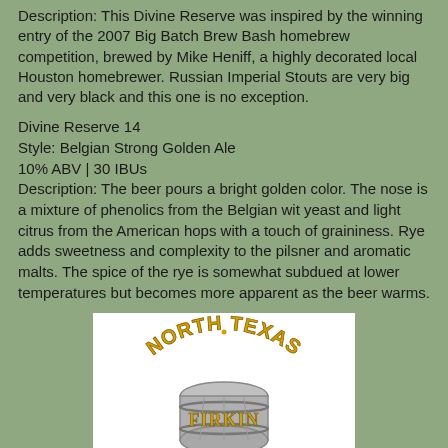Description: This Divine Reserve was inspired by the winning entry of the 2007 Big Batch Brew Bash homebrew competition, brewed by Mike Heniff, a highly decorated local Houston homebrewer. Russian Imperial Stouts are very big and very black and this one is no exception.
Divine Reserve 14
Style: Belgian Strong Golden Ale
10% ABV | 30 IBUs
Description: The beer pours a bright golden color. The nose is a mixture of phenolics from the Belgian wit yeast and light citrus from the American hops with a touch of graininess. Rye adds sweetness and complexity to the pilsner and aromatic malts. The spice of the rye is somewhat subdued at lower temperatures but becomes more apparent as the beer warms.
[Figure (logo): North Texas Firkin logo — circular text 'NORTH TEXAS' arched on top in gold/yellow bold lettering, with 'FIRKIN' in gold gothic lettering over a grey barrel illustration in the center.]